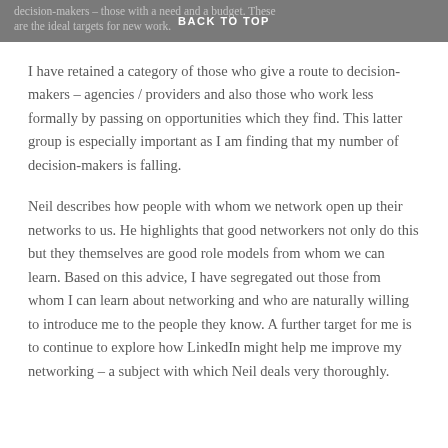BACK TO TOP
I have retained a category of those who give a route to decision-makers – agencies / providers and also those who work less formally by passing on opportunities which they find. This latter group is especially important as I am finding that my number of decision-makers is falling.
Neil describes how people with whom we network open up their networks to us. He highlights that good networkers not only do this but they themselves are good role models from whom we can learn. Based on this advice, I have segregated out those from whom I can learn about networking and who are naturally willing to introduce me to the people they know. A further target for me is to continue to explore how LinkedIn might help me improve my networking – a subject with which Neil deals very thoroughly.